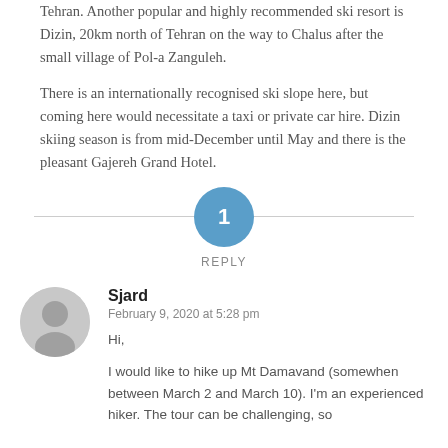Tehran. Another popular and highly recommended ski resort is Dizin, 20km north of Tehran on the way to Chalus after the small village of Pol-a Zanguleh.
There is an internationally recognised ski slope here, but coming here would necessitate a taxi or private car hire. Dizin skiing season is from mid-December until May and there is the pleasant Gajereh Grand Hotel.
[Figure (other): A circular blue badge with the number 1 centered on a horizontal divider line, with the word REPLY below it]
Sjard
February 9, 2020 at 5:28 pm
Hi,
I would like to hike up Mt Damavand (somewhen between March 2 and March 10). I'm an experienced hiker. The tour can be challenging, so